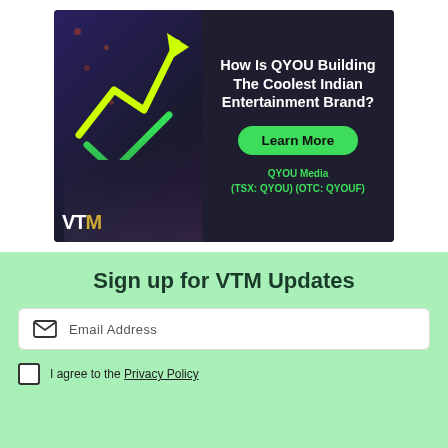[Figure (illustration): Advertisement banner for QYOU Media / VTM showing a dark background with a hand holding a phone, green arrow and checkmark graphics, the text 'How Is QYOU Building The Coolest Indian Entertainment Brand?', a green Learn More button, and ticker info 'QYOU Media (TSX: QYOU) (OTC: QYOUF)']
Sign up for VTM Updates
Email Address
I agree to the Privacy Policy